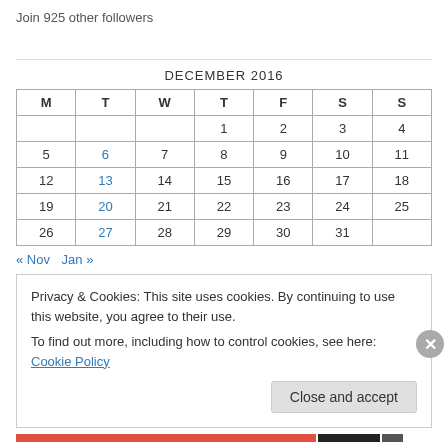Join 925 other followers
| M | T | W | T | F | S | S |
| --- | --- | --- | --- | --- | --- | --- |
|  |  |  | 1 | 2 | 3 | 4 |
| 5 | 6 | 7 | 8 | 9 | 10 | 11 |
| 12 | 13 | 14 | 15 | 16 | 17 | 18 |
| 19 | 20 | 21 | 22 | 23 | 24 | 25 |
| 26 | 27 | 28 | 29 | 30 | 31 |  |
DECEMBER 2016
« Nov   Jan »
Privacy & Cookies: This site uses cookies. By continuing to use this website, you agree to their use.
To find out more, including how to control cookies, see here: Cookie Policy